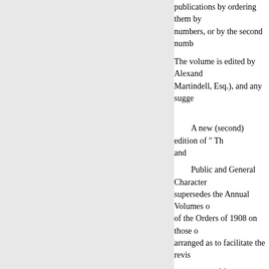publications by ordering them by numbers, or by the second numb
The volume is edited by Alexand Martindell, Esq.), and any sugge
A new (second) edition of “ Th and
Public and General Character supersedes the Annual Volumes of the Orders of 1908 on those o arranged as to facilitate the revis
A new (fifth) edition of “ The statutory provision authorising th Orders in force under such autho
The system of arrangement of th former editions, which they supe
* A note will be found at the therein have or have not been p
« Anterior